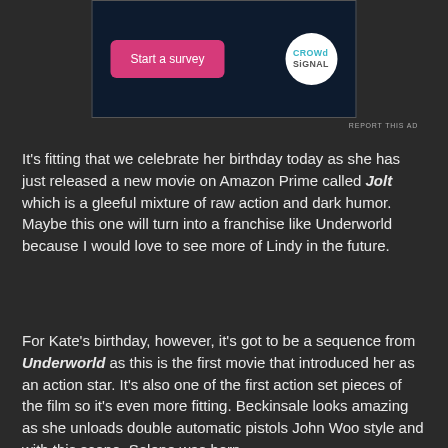[Figure (screenshot): Advertisement banner with dark navy background showing a pink 'Start a survey' button and a Crowd Signal circular logo on white background]
REPORT THIS AD
It's fitting that we celebrate her birthday today as she has just released a new movie on Amazon Prime called Jolt which is a gleeful mixture of raw action and dark humor. Maybe this one will turn into a franchise like Underworld because I would love to see more of Lindy in the future.
For Kate's birthday, however, it's got to be a sequence from Underworld as this is the first movie that introduced her as an action star. It's also one of the first action set pieces of the film so it's even more fitting. Beckinsale looks amazing as she unloads double automatic pistols John Woo style and with this scene, Selene was born.